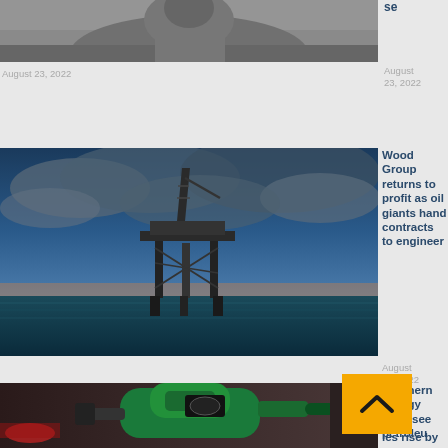[Figure (photo): Partial photo at top, appears to show a person, cropped]
se
August 23, 2022
August 23, 2022
[Figure (photo): Oil drilling rig in the ocean at sunset with dramatic cloudy sky]
Wood Group returns to profit as oil giants hand contracts to engineer
August 23, 2022
[Figure (photo): Green fuel pump nozzle being inserted into a car]
Southern Energy Corp see petroleu
les rise by